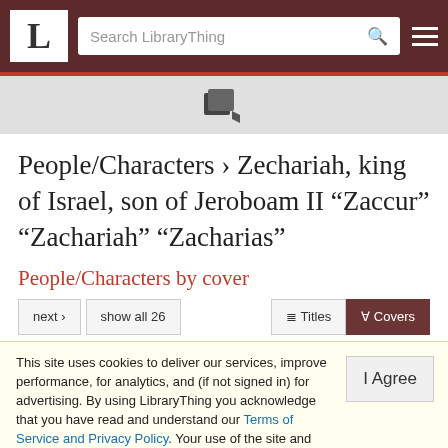LibraryThing — Search LibraryThing navigation
People/Characters › Zechariah, king of Israel, son of Jeroboam II "Zaccur" "Zachariah" "Zacharias"
People/Characters by cover
next › | show all 26 | Titles | Covers
This site uses cookies to deliver our services, improve performance, for analytics, and (if not signed in) for advertising. By using LibraryThing you acknowledge that you have read and understand our Terms of Service and Privacy Policy. Your use of the site and services is subject to these policies and terms.